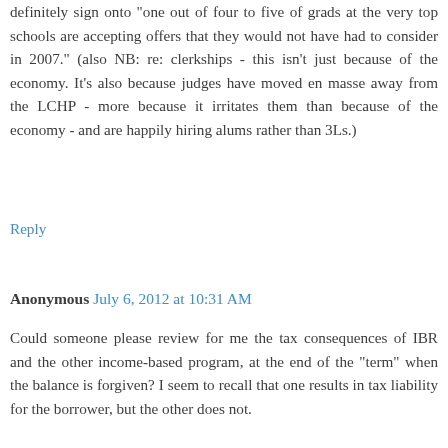definitely sign onto "one out of four to five of grads at the very top schools are accepting offers that they would not have had to consider in 2007." (also NB: re: clerkships - this isn't just because of the economy. It's also because judges have moved en masse away from the LCHP - more because it irritates them than because of the economy - and are happily hiring alums rather than 3Ls.)
Reply
Anonymous July 6, 2012 at 10:31 AM
Could someone please review for me the tax consequences of IBR and the other income-based program, at the end of the "term" when the balance is forgiven? I seem to recall that one results in tax liability for the borrower, but the other does not.
A few days ago I was talking with the parent of a 2L at a "top tier NYC" Law School [to preserve his and his child's anonymity, I won't name names]. He noted that although she was going to be $200K in debt by the time she finished